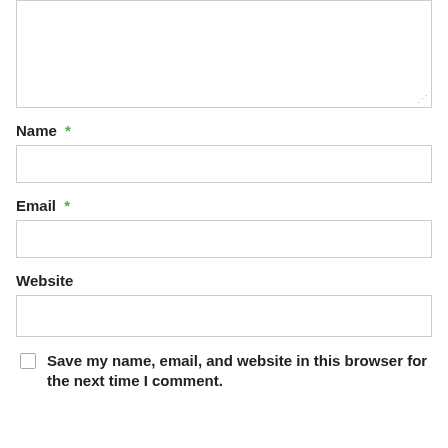[Figure (screenshot): Textarea input box with resize handle at bottom right, partially shown at top of page]
Name *
[Figure (screenshot): Name text input field, empty, with border]
Email *
[Figure (screenshot): Email text input field, empty, with border]
Website
[Figure (screenshot): Website text input field, empty, with border]
Save my name, email, and website in this browser for the next time I comment.